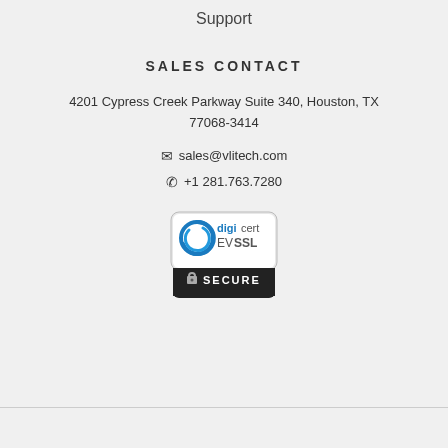Support
SALES CONTACT
4201 Cypress Creek Parkway Suite 340, Houston, TX 77068-3414
✉ sales@vlitech.com
✆ +1 281.763.7280
[Figure (logo): DigiCert EV SSL Secure badge]